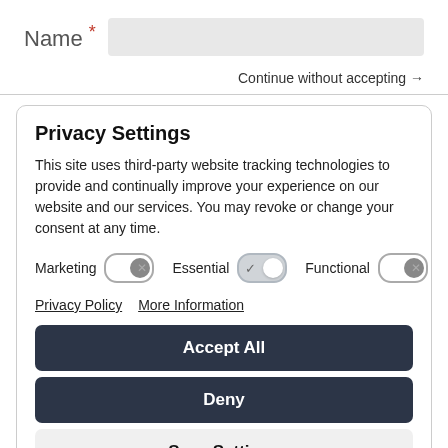Name *
Continue without accepting →
Privacy Settings
This site uses third-party website tracking technologies to provide and continually improve your experience on our website and our services. You may revoke or change your consent at any time.
Marketing  [toggle off]  Essential  [toggle on]  Functional  [toggle off]
Privacy Policy   More Information
Accept All
Deny
Save Settings
Powered by Usercentrics Consent Management